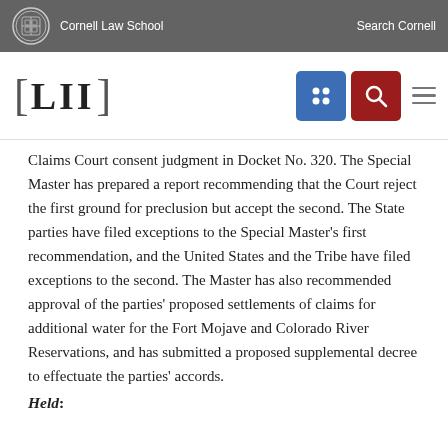Cornell Law School   Search Cornell
[Figure (logo): LII (Legal Information Institute) logo with Cornell Law School branding, navigation icons including a grid icon in blue and search icon in red, and a hamburger menu]
Claims Court consent judgment in Docket No. 320. The Special Master has prepared a report recommending that the Court reject the first ground for preclusion but accept the second. The State parties have filed exceptions to the Special Master's first recommendation, and the United States and the Tribe have filed exceptions to the second. The Master has also recommended approval of the parties' proposed settlements of claims for additional water for the Fort Mojave and Colorado River Reservations, and has submitted a proposed supplemental decree to effectuate the parties' accords.
Held: